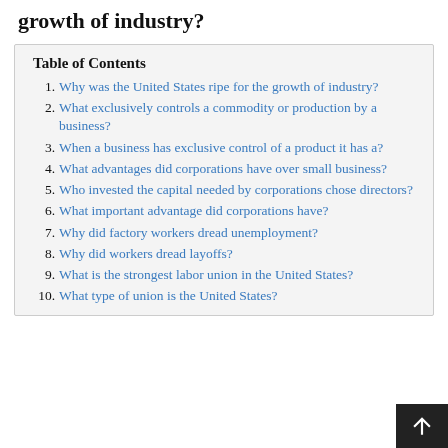growth of industry?
Table of Contents
Why was the United States ripe for the growth of industry?
What exclusively controls a commodity or production by a business?
When a business has exclusive control of a product it has a?
What advantages did corporations have over small business?
Who invested the capital needed by corporations chose directors?
What important advantage did corporations have?
Why did factory workers dread unemployment?
Why did workers dread layoffs?
What is the strongest labor union in the United States?
What type of union is the United States?